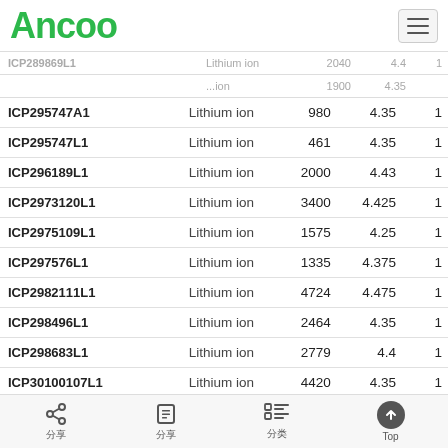Ancoo
| Model | Type | Capacity | Voltage | Qty |
| --- | --- | --- | --- | --- |
| ICP295747A1 | Lithium ion | 980 | 4.35 | 1 |
| ICP295747L1 | Lithium ion | 461 | 4.35 | 1 |
| ICP296189L1 | Lithium ion | 2000 | 4.43 | 1 |
| ICP2973120L1 | Lithium ion | 3400 | 4.425 | 1 |
| ICP2975109L1 | Lithium ion | 1575 | 4.25 | 1 |
| ICP297576L1 | Lithium ion | 1335 | 4.375 | 1 |
| ICP2982111L1 | Lithium ion | 4724 | 4.475 | 1 |
| ICP298496L1 | Lithium ion | 2464 | 4.35 | 1 |
| ICP298683L1 | Lithium ion | 2779 | 4.4 | 1 |
| ICP30100107L1 | Lithium ion | 4420 | 4.35 | 1 |
| ICP304072L1 | Lithium ion | 1280 | 4.45 | 1 |
| ICP304463L1 | Lithium ion | 790 | 4.2 | 1 |
分享  分享  分类  Top